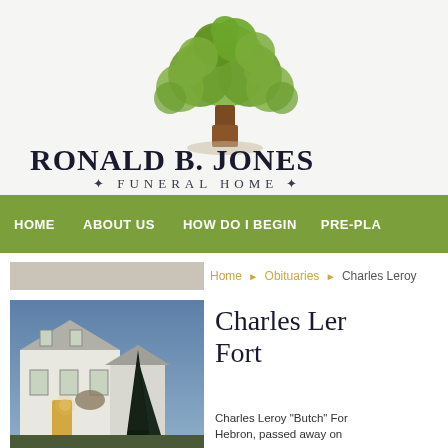[Figure (logo): Ronald B. Jones Funeral Home logo with decorative tree above text]
HOME   ABOUT US   HOW DO I BEGIN   PRE-PLA
Home ▶ Obituaries ▶ Charles Leroy
[Figure (photo): Exterior photo of funeral home building at dusk with tall evergreen tree]
Charles Leroy Fort
Charles Leroy "Butch" For Hebron, passed away on